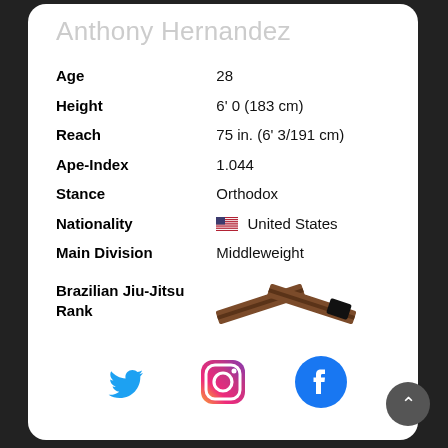Anthony Hernandez
| Age | 28 |
| Height | 6' 0 (183 cm) |
| Reach | 75 in. (6' 3/191 cm) |
| Ape-Index | 1.044 |
| Stance | Orthodox |
| Nationality | 🇺🇸 United States |
| Main Division | Middleweight |
| Brazilian Jiu-Jitsu Rank | [brown belt image] |
[Figure (illustration): Social media icons row: Twitter bird (blue), Instagram gradient camera icon, Facebook logo (blue circle with white f)]